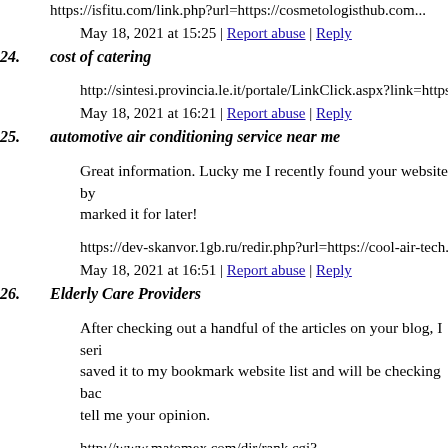https://isfitu.com/link.php?url=https://cosmetologisthub.com...
May 18, 2021 at 15:25 | Report abuse | Reply
24. cost of catering
http://sintesi.provincia.le.it/portale/LinkClick.aspx?link=https:...
May 18, 2021 at 16:21 | Report abuse | Reply
25. automotive air conditioning service near me
Great information. Lucky me I recently found your website by... marked it for later!
https://dev-skanvor.1gb.ru/redir.php?url=https://cool-air-tech.c...
May 18, 2021 at 16:51 | Report abuse | Reply
26. Elderly Care Providers
After checking out a handful of the articles on your blog, I seri... saved it to my bookmark website list and will be checking bac... tell me your opinion.
http://www.matomex.com/dir/rank.cgi?mode=link&id=1406&url=http://www.assistedlivingseniorcare...
May 18, 2021 at 17:17 | Report abuse | Reply